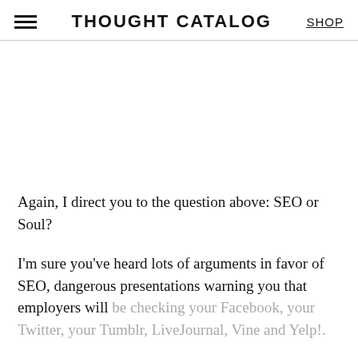THOUGHT CATALOG | SHOP
Again, I direct you to the question above: SEO or Soul?
I'm sure you've heard lots of arguments in favor of SEO, dangerous presentations warning you that employers will be checking your Facebook, your Twitter, your Tumblr, LiveJournal, Vine and Yelp!.